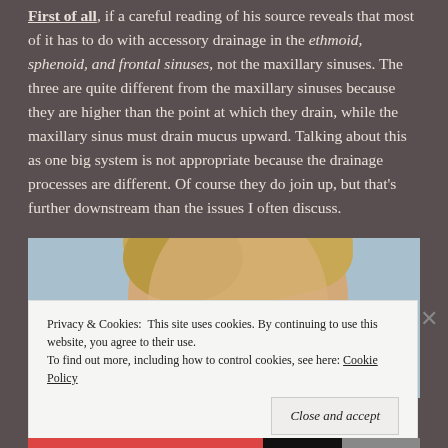First of all, if a careful reading of his source reveals that most of it has to do with accessory drainage in the ethmoid, sphenoid, and frontal sinuses, not the maxillary sinuses. The three are quite different from the maxillary sinuses because they are higher than the point at which they drain, while the maxillary sinus must drain mucus upward. Talking about this as one big system is not appropriate because the drainage processes are different. Of course they do join up, but that's further downstream than the issues I often discuss.
[Figure (illustration): Anatomical diagram of a human head showing sinus locations. Labels include 'Frontal Sinus' on the left side and 'Sphenoid' on the right side. The image shows a side/front view of a person's head.]
Privacy & Cookies: This site uses cookies. By continuing to use this website, you agree to their use. To find out more, including how to control cookies, see here: Cookie Policy